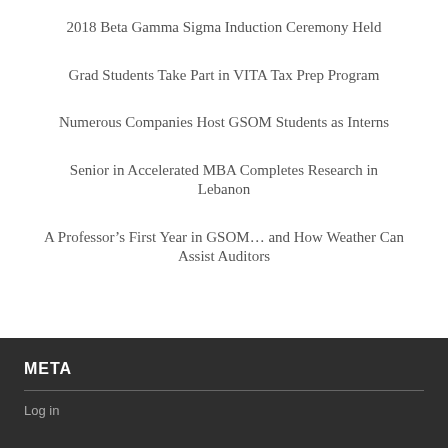2018 Beta Gamma Sigma Induction Ceremony Held
Grad Students Take Part in VITA Tax Prep Program
Numerous Companies Host GSOM Students as Interns
Senior in Accelerated MBA Completes Research in Lebanon
A Professor’s First Year in GSOM… and How Weather Can Assist Auditors
META
Log in